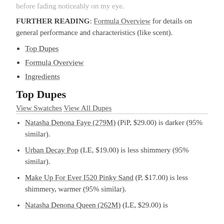before fading noticeably on my eye.
FURTHER READING: Formula Overview for details on general performance and characteristics (like scent).
Top Dupes
Formula Overview
Ingredients
Top Dupes
View Swatches View All Dupes
Natasha Denona Faye (279M) (PiP, $29.00) is darker (95% similar).
Urban Decay Pop (LE, $19.00) is less shimmery (95% similar).
Make Up For Ever I520 Pinky Sand (P, $17.00) is less shimmery, warmer (95% similar).
Natasha Denona Queen (262M) (LE, $29.00) is